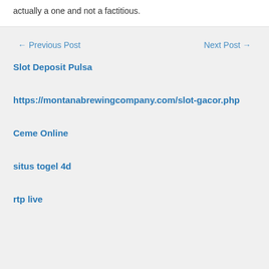actually a one and not a factitious.
← Previous Post    Next Post →
Slot Deposit Pulsa
https://montanabrewingcompany.com/slot-gacor.php
Ceme Online
situs togel 4d
rtp live